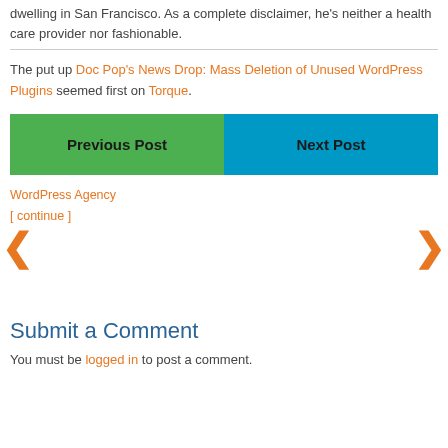dwelling in San Francisco. As a complete disclaimer, he's neither a health care provider nor fashionable.
The put up Doc Pop's News Drop: Mass Deletion of Unused WordPress Plugins seemed first on Torque.
[Figure (other): Navigation buttons: Previous Post (green) and Next Post (blue)]
WordPress Agency
[ continue ]
Submit a Comment
You must be logged in to post a comment.